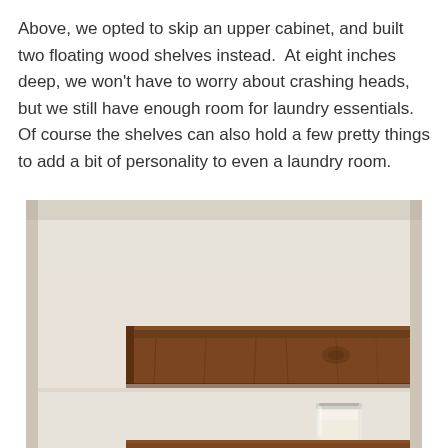Above, we opted to skip an upper cabinet, and built two floating wood shelves instead.  At eight inches deep, we won't have to worry about crashing heads, but we still have enough room for laundry essentials.  Of course the shelves can also hold a few pretty things to add a bit of personality to even a laundry room.
[Figure (photo): Close-up photo of two dark walnut-stained floating wood shelves mounted in a white-walled alcove. The upper shelf is a thick rustic wooden plank with visible wood grain. The lower shelf is partially visible at the bottom of the frame. A glass jar candle holder with a white candle sits on the lower shelf near the right side.]